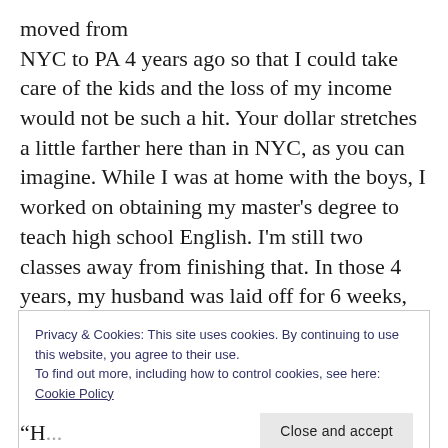moved from NYC to PA 4 years ago so that I could take care of the kids and the loss of my income would not be such a hit. Your dollar stretches a little farther here than in NYC, as you can imagine. While I was at home with the boys, I worked on obtaining my master’s degree to teach high school English. I’m still two classes away from finishing that. In those 4 years, my husband was laid off for 6 weeks, got another job, and this time it was a work from home position. He travels internationally from time to time but for the most part, he’s the stay at home Dad now.
Privacy & Cookies: This site uses cookies. By continuing to use this website, you agree to their use.
To find out more, including how to control cookies, see here: Cookie Policy
“H...